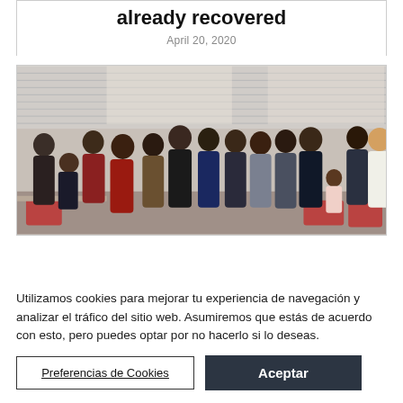already recovered
April 20, 2020
[Figure (photo): Group photo of approximately 14 people standing together in what appears to be an office or meeting room setting, with venetian blinds visible in the background and red chairs.]
Utilizamos cookies para mejorar tu experiencia de navegación y analizar el tráfico del sitio web. Asumiremos que estás de acuerdo con esto, pero puedes optar por no hacerlo si lo deseas.
Preferencias de Cookies
Aceptar